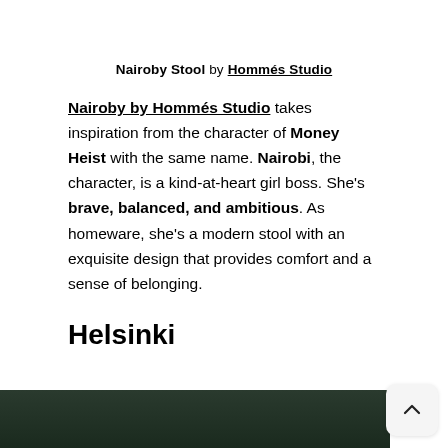Nairoby Stool by Hommés Studio
Nairoby by Hommés Studio takes inspiration from the character of Money Heist with the same name. Nairobi, the character, is a kind-at-heart girl boss. She's brave, balanced, and ambitious. As homeware, she's a modern stool with an exquisite design that provides comfort and a sense of belonging.
Helsinki
[Figure (photo): Dark green/black background photo, partially visible at bottom of page]